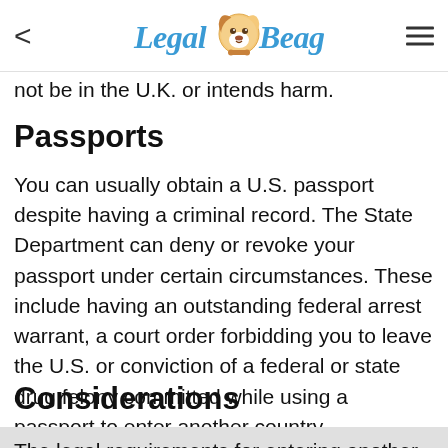Legal Beagle
not be in the U.K. or intends harm.
Passports
You can usually obtain a U.S. passport despite having a criminal record. The State Department can deny or revoke your passport under certain circumstances. These include having an outstanding federal arrest warrant, a court order forbidding you to leave the U.S. or conviction of a federal or state drug felony committed while using a passport to enter another country.
Considerations
The legal requirements for entering another country